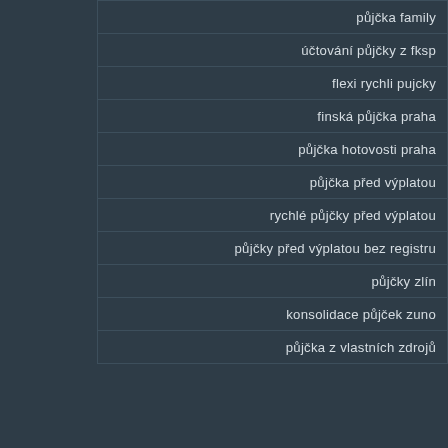| půjčka family |
| účtování půjčky z fksp |
| flexi rychli pujcky |
| finská půjčka praha |
| půjčka hotovosti praha |
| půjčka před výplatou |
| rychlé půjčky před výplatou |
| půjčky před výplatou bez registru |
| půjčky zlín |
| konsolidace půjček zuno |
| půjčka z vlastních zdrojů |